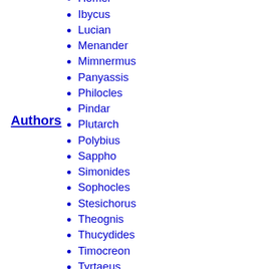Authors
Hipponax
Homer
Ibycus
Lucian
Menander
Mimnermus
Panyassis
Philocles
Pindar
Plutarch
Polybius
Sappho
Simonides
Sophocles
Stesichorus
Theognis
Thucydides
Timocreon
Tyrtaeus
Xenophon
Agesilaus II
Agis II
Alcibiades
Alexander the Great
Aratus